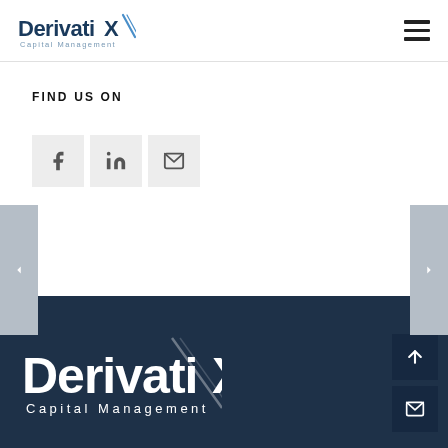DerivatiX Capital Management
FIND US ON
[Figure (other): Social media icons row: Facebook, LinkedIn, Email]
[Figure (logo): DerivatiX Capital Management logo in white on dark navy footer background]